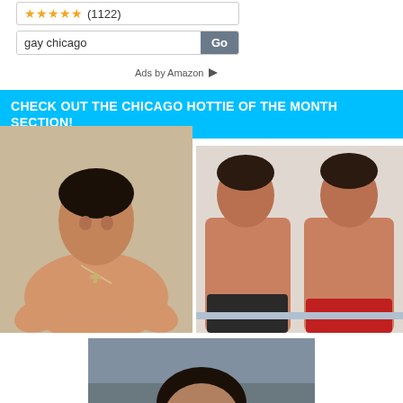[Figure (other): Star rating showing 5 stars and (1122) review count]
[Figure (other): Search box with text 'gay chicago' and a Go button]
Ads by Amazon
CHECK OUT THE CHICAGO HOTTIE OF THE MONTH SECTION!
[Figure (photo): Photo of a young man lying back shirtless with a cross necklace, smiling]
[Figure (photo): Photo of two shirtless muscular men sitting side by side, one in dark shorts and one in red swimwear]
[Figure (photo): Partial photo of a person outdoors]